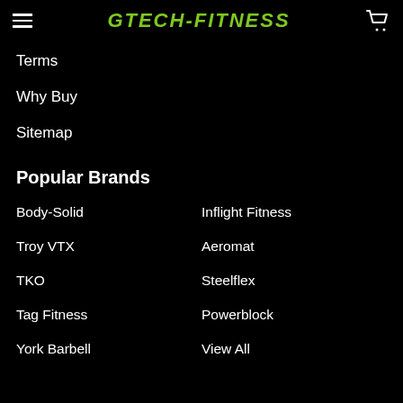GTECH FITNESS [hamburger menu, cart icon]
Terms
Why Buy
Sitemap
Popular Brands
Body-Solid
Inflight Fitness
Troy VTX
Aeromat
TKO
Steelflex
Tag Fitness
Powerblock
York Barbell
View All